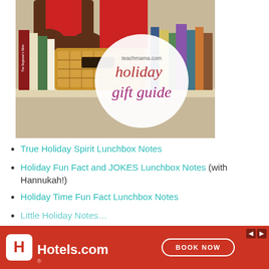[Figure (photo): Bookshelf scene with books, wicker basket, and Santa Claus toy sitting on shelf. A white circle overlay shows 'teachmama.com' with 'holiday gift guide' text in red and purple italic script.]
True Holiday Spirit Lunchbox Notes
Holiday Fun Fact and JOKES Lunchbox Notes (with Hannukah!)
Holiday Time Fun Fact Lunchbox Notes
Little Holiday Notes (partially visible)
H... (partially visible, cut off by ad)
[Figure (advertisement): Hotels.com advertisement banner with red background, Hotels.com logo and 'BOOK NOW' button]